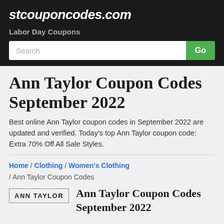stcouponcodes.com
Labor Day Coupons
Search
Ann Taylor Coupon Codes September 2022
Best online Ann Taylor coupon codes in September 2022 are updated and verified. Today's top Ann Taylor coupon code: Extra 70% Off All Sale Styles.
Home / Clothing / Women's Clothing / Ann Taylor Coupon Codes
ANN TAYLOR  Ann Taylor Coupon Codes September 2022